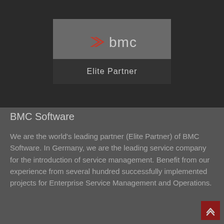[Figure (logo): BMC Software Elite Partner badge. Dark background with a grey card showing the BMC logo (orange chevron icon and 'bmc' text) and a dark bar reading 'Elite Partner'.]
BMC Software
We are the world's leading partner (Elite Partner) of BMC Software. In Germany, we are the leading service company for the introduction of service management. Benefit from our experience from several hundred successfully implemented projects for Enterprise Service Management and Operations.